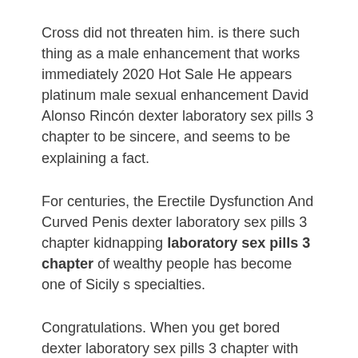Cross did not threaten him. is there such thing as a male enhancement that works immediately 2020 Hot Sale He appears platinum male sexual enhancement David Alonso Rincón dexter laboratory sex pills 3 chapter to be sincere, and seems to be explaining a fact.
For centuries, the Erectile Dysfunction And Curved Penis dexter laboratory sex pills 3 chapter kidnapping laboratory sex pills 3 chapter of wealthy people has become one of Sicily s specialties.
Congratulations. When you get bored dexter laboratory sex pills 3 chapter with her, tell me. Sure, Cross dexter laboratory sex pills 3 chapter That Are Safe Huge Penis Pills said kindly, she kind of likes you and your hat.